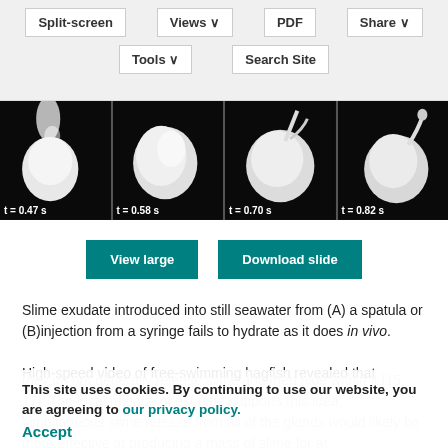[Figure (screenshot): Website navigation toolbar with buttons: Split-screen, Views, PDF, Share, Tools, Search Site on a light grey background]
[Figure (photo): Four high-speed video frames of hagfish slime exudate in seawater at t=0.47s, t=0.58s, t=0.70s, t=0.82s showing white blob on black background]
[Figure (screenshot): Two teal/green buttons labeled 'View large' and 'Download slide']
Slime exudate introduced into still seawater from (A) a spatula or (B)injection from a syringe fails to hydrate as it does in vivo.
High-speed video of free-swimming hagfish revealed that they do not generally release slime and then hide within it [15, 17]. The local release of exudate supports this idea; simultaneous slime release from all of the glands would likely be more effective at producing a mass of slime for at
This site uses cookies. By continuing to use our website, you are agreeing to our privacy policy. Accept